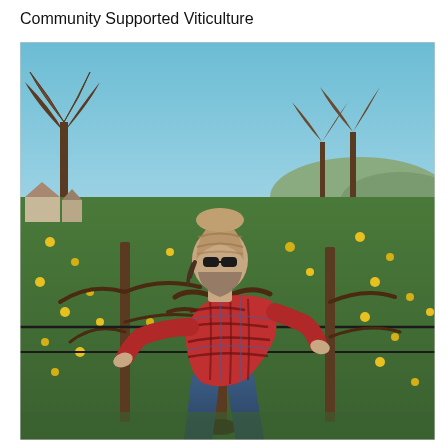Community Supported Viticulture
[Figure (photo): A man wearing a red plaid flannel shirt, sunglasses, and a knit beanie hat bends forward to prune old grapevines in a vineyard. Yellow wildflowers and green grass grow between the vine rows. Bare deciduous trees and mountains are visible in the background under a blue sky. The vines are dormant and gnarled, typical of winter/early spring pruning season.]